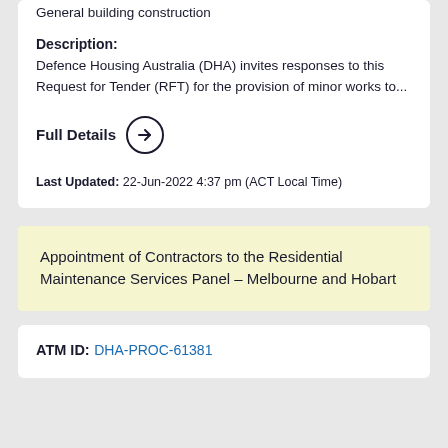General building construction
Description:
Defence Housing Australia (DHA) invites responses to this Request for Tender (RFT) for the provision of minor works to...
Full Details →
Last Updated: 22-Jun-2022 4:37 pm (ACT Local Time)
Appointment of Contractors to the Residential Maintenance Services Panel – Melbourne and Hobart
ATM ID:
DHA-PROC-61381